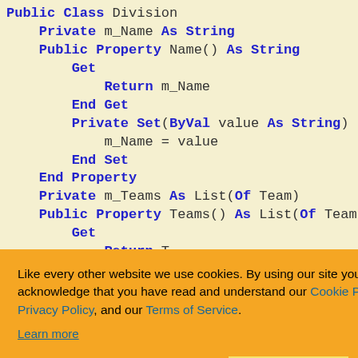[Figure (screenshot): Code snippet showing a VB.NET class definition for Division with Name and Teams properties, overlaid by a cookie consent banner]
Like every other website we use cookies. By using our site you acknowledge that you have read and understand our Cookie Policy, Privacy Policy, and our Terms of Service. Learn more